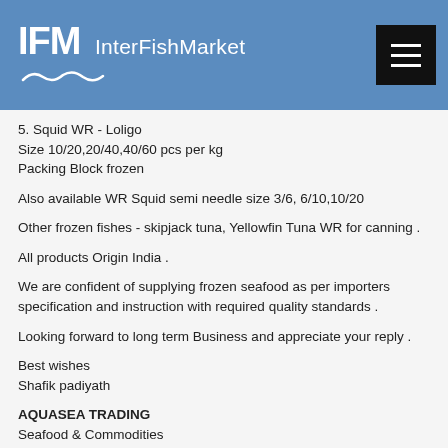IFM InterFishMarket
5. Squid WR - Loligo
Size 10/20,20/40,40/60 pcs per kg
Packing Block frozen
Also available WR Squid semi needle size 3/6, 6/10,10/20
Other frozen fishes - skipjack tuna, Yellowfin Tuna WR for canning .
All products Origin India .
We are confident of supplying frozen seafood as per importers specification and instruction with required quality standards .
Looking forward to long term Business and appreciate your reply .
Best wishes
Shafik padiyath
AQUASEA TRADING
Seafood & Commodities
Cochin 21, Kerala, India 682021
Tele+91 484 2410392
Mobile +91 9447040088
shafikps@yahoo.com
info@aquasea.in